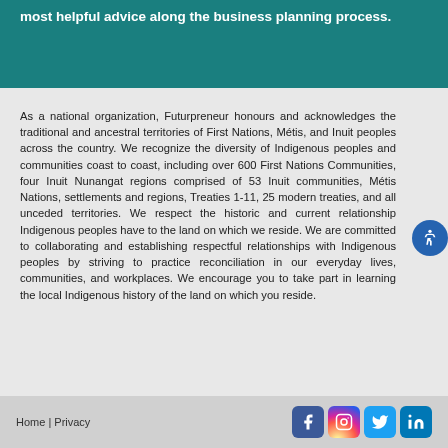most helpful advice along the business planning process.
As a national organization, Futurpreneur honours and acknowledges the traditional and ancestral territories of First Nations, Métis, and Inuit peoples across the country. We recognize the diversity of Indigenous peoples and communities coast to coast, including over 600 First Nations Communities, four Inuit Nunangat regions comprised of 53 Inuit communities, Métis Nations, settlements and regions, Treaties 1-11, 25 modern treaties, and all unceded territories. We respect the historic and current relationship Indigenous peoples have to the land on which we reside. We are committed to collaborating and establishing respectful relationships with Indigenous peoples by striving to practice reconciliation in our everyday lives, communities, and workplaces. We encourage you to take part in learning the local Indigenous history of the land on which you reside.
Home | Privacy